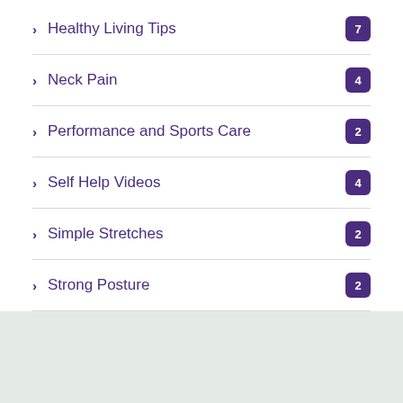Healthy Living Tips — 7
Neck Pain — 4
Performance and Sports Care — 2
Self Help Videos — 4
Simple Stretches — 2
Strong Posture — 2
What Our Patients Say